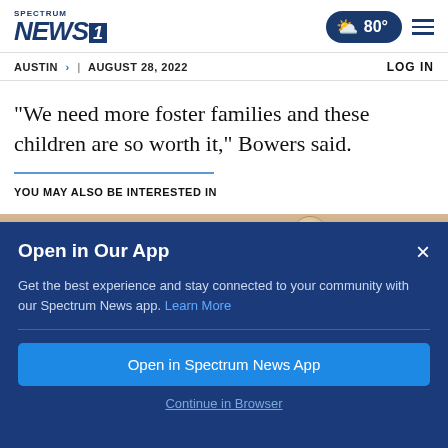Spectrum NEWS1 | 80° | menu
AUSTIN > | AUGUST 28, 2022 | LOG IN
"We need more foster families and these children are so worth it," Bowers said.
YOU MAY ALSO BE INTERESTED IN
[Figure (photo): Partial image strip showing a food/bread item]
Open in Our App
Get the best experience and stay connected to your community with our Spectrum News app. Learn More
Open in Spectrum News App
Continue in Browser